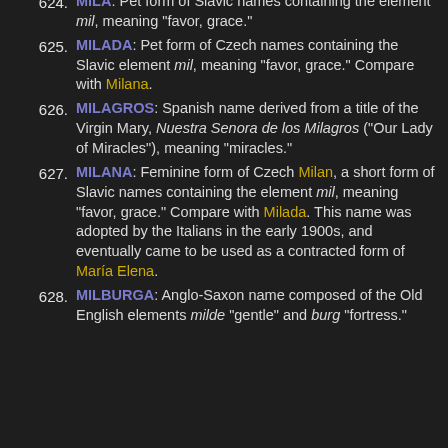624. MILA: Pet form of Slavic names containing the element mil, meaning "favor, grace."
625. MILADA: Pet form of Czech names containing the Slavic element mil, meaning "favor, grace." Compare with Milana.
626. MILAGROS: Spanish name derived from a title of the Virgin Mary, Nuestra Senora de los Milagros ("Our Lady of Miracles"), meaning "miracles."
627. MILANA: Feminine form of Czech Milan, a short form of Slavic names containing the element mil, meaning "favor, grace." Compare with Milada. This name was adopted by the Italians in the early 1900s, and eventually came to be used as a contracted form of Maria Elena.
628. MILBURGA: Anglo-Saxon name composed of the Old English elements milde "gentle" and burg "fortress."